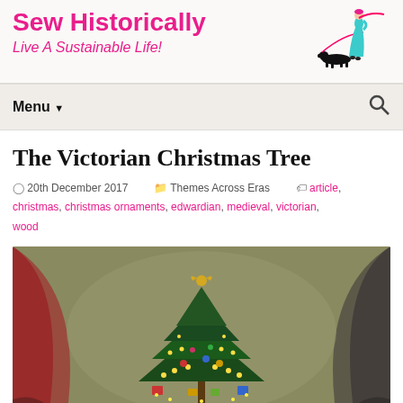Sew Historically
Live A Sustainable Life!
[Figure (illustration): Art deco style illustration of a woman in a teal dress walking a black dog on a pink leash]
Menu
The Victorian Christmas Tree
20th December 2017   Themes Across Eras   article, christmas, christmas ornaments, edwardian, medieval, victorian, wood
[Figure (illustration): Victorian Christmas tree painting showing a decorated evergreen tree with candles and ornaments, with red curtains on the sides, dark moody background, angel on top]